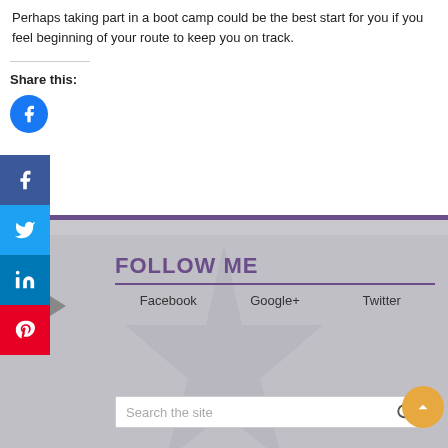Perhaps taking part in a boot camp could be the best start for you if you feel beginning of your route to keep you on track.
Share this:
[Figure (infographic): Social media share buttons: Facebook circle icon, and a sidebar with Facebook (blue), Twitter (light blue), LinkedIn (dark blue), Pinterest (red) icons]
FOLLOW ME
Facebook   Google+   Twitter
[Figure (screenshot): Search bar with placeholder text 'Search the site' and a search icon, plus an orange scroll-to-top button]